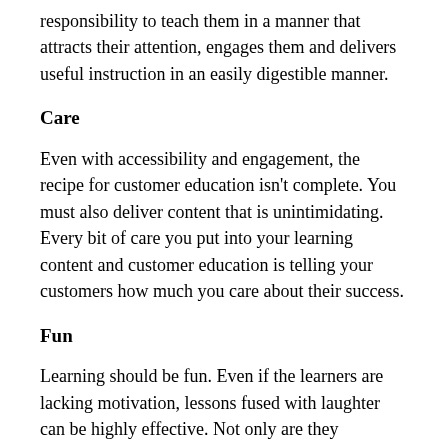responsibility to teach them in a manner that attracts their attention, engages them and delivers useful instruction in an easily digestible manner.
Care
Even with accessibility and engagement, the recipe for customer education isn't complete. You must also deliver content that is unintimidating. Every bit of care you put into your learning content and customer education is telling your customers how much you care about their success.
Fun
Learning should be fun. Even if the learners are lacking motivation, lessons fused with laughter can be highly effective. Not only are they entertaining, but humor has actually been seen to boost retention